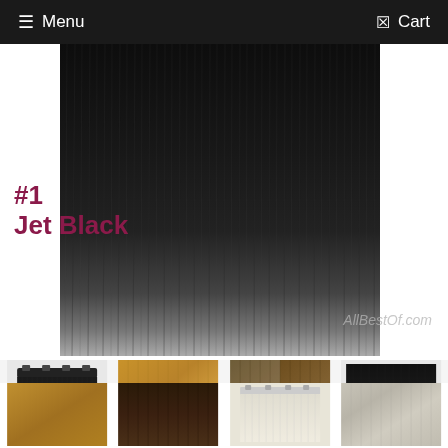Menu   Cart
[Figure (photo): Close-up of jet black straight hair extensions with label '#1 Jet Black' and watermark 'AllBestOf.com']
#1
Jet Black
AllBestOf.com
[Figure (photo): Grid of hair extension color swatches: jet black clip-in, golden blonde, medium brown, off-black, golden blonde, dark brown, bleach blonde, ash blonde/grey]
#1b Off Black